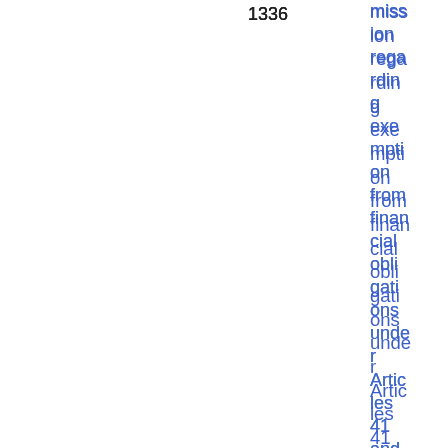|  | 1336 | mission regarding exemption from financial obligations under Articles 41 and 42 of EMI | 0.66 KB |
| --- | --- | --- | --- |